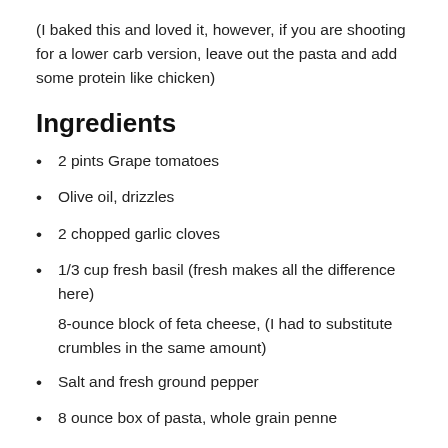(I baked this and loved it, however, if you are shooting for a lower carb version, leave out the pasta and add some protein like chicken)
Ingredients
2 pints Grape tomatoes
Olive oil, drizzles
2 chopped garlic cloves
1/3 cup fresh basil (fresh makes all the difference here)
8-ounce block of feta cheese, (I had to substitute crumbles in the same amount)
Salt and fresh ground pepper
8 ounce box of pasta, whole grain penne